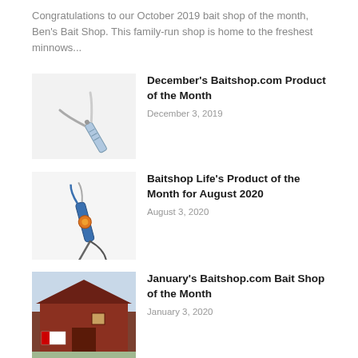Congratulations to our October 2019 bait shop of the month, Ben's Bait Shop. This family-run shop is home to the freshest minnows...
[Figure (photo): Image of a fishing tool / hook remover with blue handle on white background]
December's Baitshop.com Product of the Month
December 3, 2019
[Figure (photo): Image of a fishing tool with blue and orange accents on white background]
Baitshop Life’s Product of the Month for August 2020
August 3, 2020
[Figure (photo): Image of a red barn building exterior, winter scene]
January’s Baitshop.com Bait Shop of the Month
January 3, 2020
RECENT POSTS
[Figure (photo): Photo of a man in a car interior]
[Figure (photo): Photo with blue tones, outdoor scene]